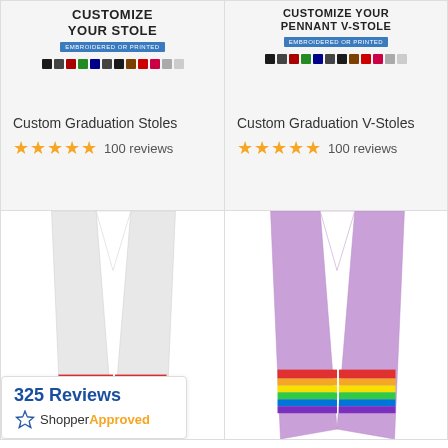[Figure (photo): Top-left product card showing 'Customize Your Stole - Embroidered or Printed' text with color swatches, product title 'Custom Graduation Stoles' and 5-star rating with 100 reviews]
[Figure (photo): Top-right product card showing 'Customize Your Pennant V-Stole - Embroidered or Printed' text with color swatches, product title 'Custom Graduation V-Stoles' and 5-star rating with 100 reviews]
[Figure (photo): Bottom-left product card showing a white graduation stole with rainbow stripe accents]
[Figure (photo): Bottom-right product card showing a lavender/purple graduation stole with rainbow stripe accents]
325 Reviews
Shopper Approved